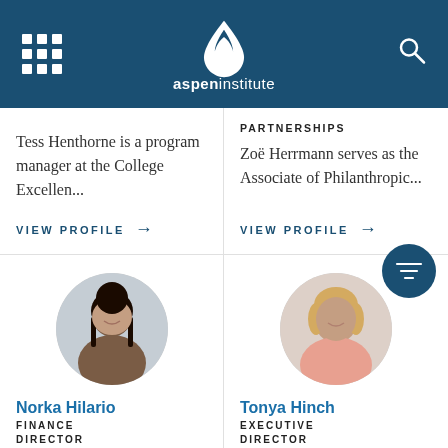[Figure (logo): Aspen Institute logo — white droplet/leaf shape with 'aspen institute' text in white on dark blue header bar]
Tess Henthorne is a program manager at the College Excellen...
VIEW PROFILE →
PARTNERSHIPS
Zoë Herrmann serves as the Associate of Philanthropic...
VIEW PROFILE →
[Figure (photo): Circular portrait photo of Norka Hilario, a woman with long dark hair, smiling]
Norka Hilario
FINANCE
DIRECTOR
[Figure (photo): Circular portrait photo of Tonya Hinch, a woman with short blonde hair, smiling, wearing a pink top]
Tonya Hinch
EXECUTIVE
DIRECTOR